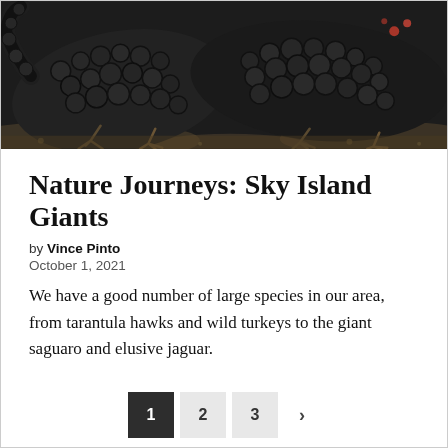[Figure (photo): Close-up photo of large dark reptiles (lizards or similar) with bumpy, scaly skin on rocky ground]
Nature Journeys: Sky Island Giants
by Vince Pinto
October 1, 2021
We have a good number of large species in our area, from tarantula hawks and wild turkeys to the giant saguaro and elusive jaguar.
1  2  3  >